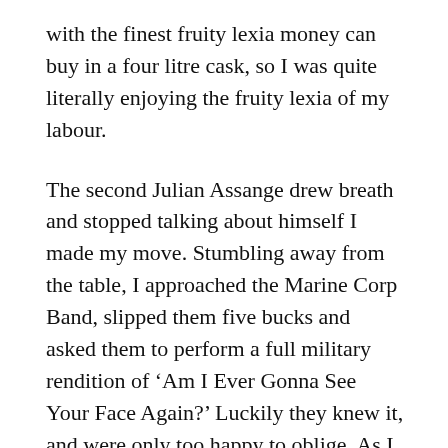with the finest fruity lexia money can buy in a four litre cask, so I was quite literally enjoying the fruity lexia of my labour.
The second Julian Assange drew breath and stopped talking about himself I made my move. Stumbling away from the table, I approached the Marine Corp Band, slipped them five bucks and asked them to perform a full military rendition of 'Am I Ever Gonna See Your Face Again?' Luckily they knew it, and were only too happy to oblige. As I stood on top of the speakers, red-faced and leading a full-throated sing-along, I was gang tackled to the ground by Mike Pompeo who, despite his obvious physical heft is surprisingly agile. Springing to